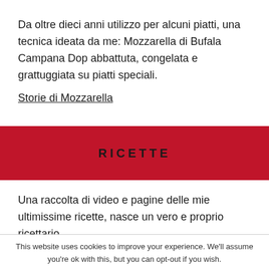Da oltre dieci anni utilizzo per alcuni piatti, una tecnica ideata da me: Mozzarella di Bufala Campana Dop abbattuta, congelata e grattuggiata su piatti speciali.
Storie di Mozzarella
RICETTE
Una raccolta di video e pagine delle mie ultimissime ricette, nasce un vero e proprio ricettario.
This website uses cookies to improve your experience. We'll assume you're ok with this, but you can opt-out if you wish.
Cookie settings   ACCEPT